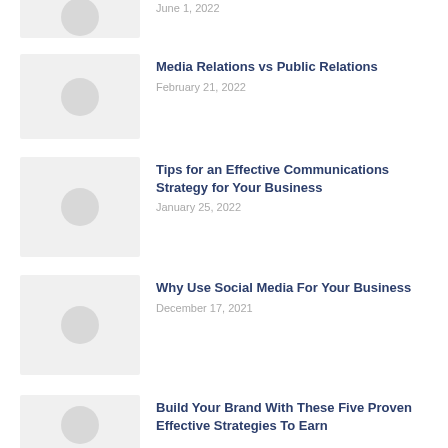June 1, 2022
Media Relations vs Public Relations
February 21, 2022
Tips for an Effective Communications Strategy for Your Business
January 25, 2022
Why Use Social Media For Your Business
December 17, 2021
Build Your Brand With These Five Proven Effective Strategies To Earn